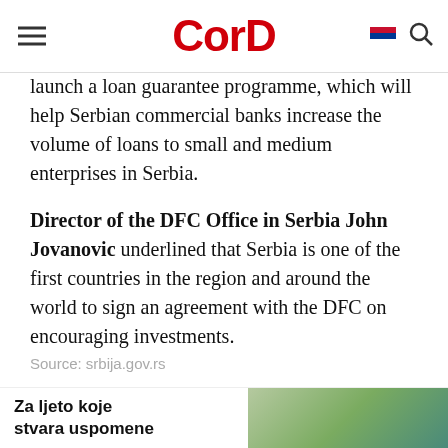CorD
launch a loan guarantee programme, which will help Serbian commercial banks increase the volume of loans to small and medium enterprises in Serbia.
Director of the DFC Office in Serbia John Jovanovic underlined that Serbia is one of the first countries in the region and around the world to sign an agreement with the DFC on encouraging investments.
Source: srbija.gov.rs
[Figure (other): Subscribe Now banner with dark navy background and white bold text, with red scroll-to-top button]
[Figure (other): Bottom advertisement banner: 'Za ljeto koje stvara uspomene' with a property/house image on the right]